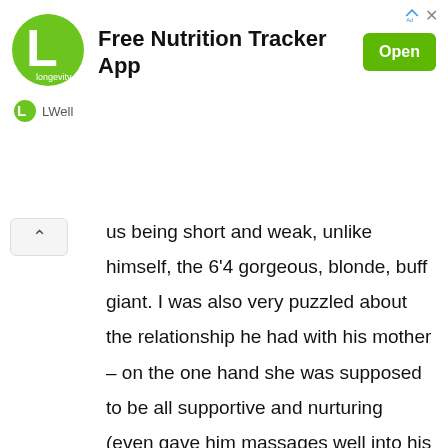[Figure (screenshot): LWell longevity wellness app advertisement banner with green circular logo, bold text 'Free Nutrition Tracker App', green 'Open' button, and 'LWell' brand name below.]
us being short and weak, unlike himself, the 6'4 gorgeous, blonde, buff giant. I was also very puzzled about the relationship he had with his mother – on the one hand she was supposed to be all supportive and nurturing (even gave him massages well into his teens) and on the other, she was supposed to be this incredibly obnoxious and oppressive person who demanded all attention from her family because she was suffering from a chronic autoimmune disease and would blame everybody for her condition. I also